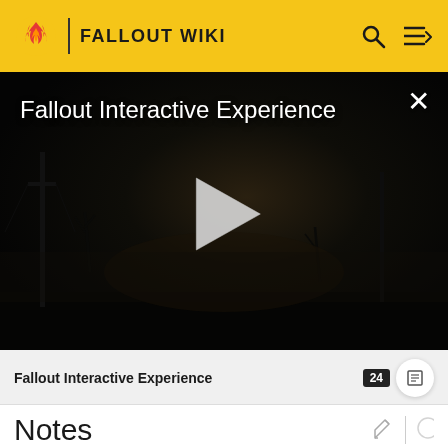FALLOUT WIKI
[Figure (screenshot): Dark post-apocalyptic video thumbnail showing barren landscape with dead trees, utility poles, and fog. White play button triangle in center. Title 'Fallout Interactive Experience' in white text top-left. Close X button top-right.]
Fallout Interactive Experience
Notes
At Red Rocket stations in the Capital Wasteland, at